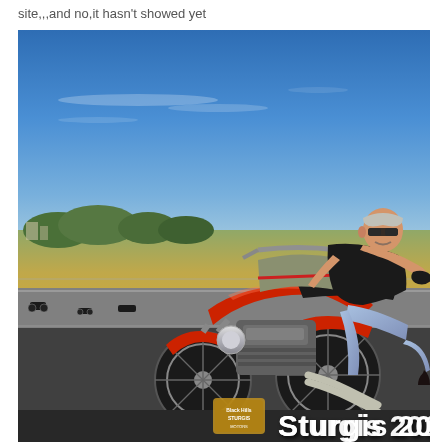site,,,and no,it hasn't showed yet
[Figure (photo): A man riding a red Harley-Davidson style cruiser motorcycle on a highway, wearing sunglasses, a sleeveless vest, and jeans, with luggage strapped to the front. Blue sky with light clouds in the background, flat prairie landscape visible. 'Sturgis 2012' text overlay in white at bottom right, with a Black Hills Motors logo.]